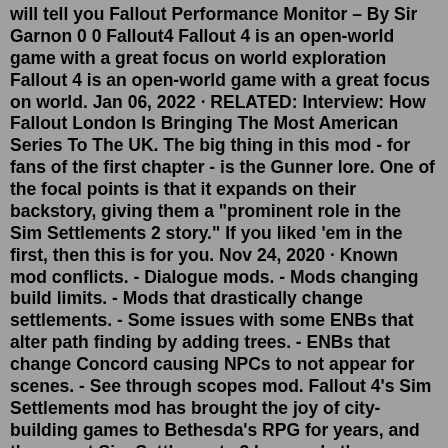will tell you Fallout Performance Monitor – By Sir Garnon 0 0 Fallout4 Fallout 4 is an open-world game with a great focus on world exploration Fallout 4 is an open-world game with a great focus on world. Jan 06, 2022 · RELATED: Interview: How Fallout London Is Bringing The Most American Series To The UK. The big thing in this mod - for fans of the first chapter - is the Gunner lore. One of the focal points is that it expands on their backstory, giving them a "prominent role in the Sim Settlements 2 story." If you liked 'em in the first, then this is for you. Nov 24, 2020 · Known mod conflicts. - Dialogue mods. - Mods changing build limits. - Mods that drastically change settlements. - Some issues with some ENBs that alter path finding by adding trees. - ENBs that change Concord causing NPCs to not appear for scenes. - See through scopes mod. Fallout 4's Sim Settlements mod has brought the joy of city-building games to Bethesda's RPG for years, and the recent Sim Settlements 2 has made the experience even bigger